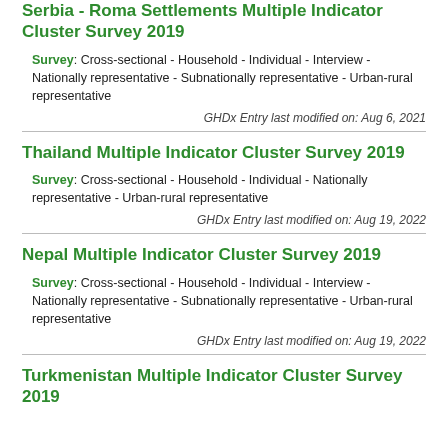Serbia - Roma Settlements Multiple Indicator Cluster Survey 2019
Survey: Cross-sectional - Household - Individual - Interview - Nationally representative - Subnationally representative - Urban-rural representative
GHDx Entry last modified on: Aug 6, 2021
Thailand Multiple Indicator Cluster Survey 2019
Survey: Cross-sectional - Household - Individual - Nationally representative - Urban-rural representative
GHDx Entry last modified on: Aug 19, 2022
Nepal Multiple Indicator Cluster Survey 2019
Survey: Cross-sectional - Household - Individual - Interview - Nationally representative - Subnationally representative - Urban-rural representative
GHDx Entry last modified on: Aug 19, 2022
Turkmenistan Multiple Indicator Cluster Survey 2019